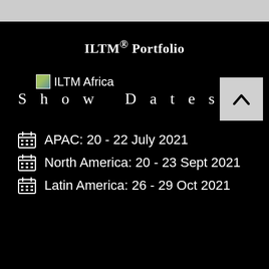ILTM® Portfolio
[Figure (logo): ILTM Africa logo with small image icon and text]
Show Dates
APAC: 20 - 22 July 2021
North America: 20 - 23 Sept 2021
Latin America: 26 - 29 Oct 2021